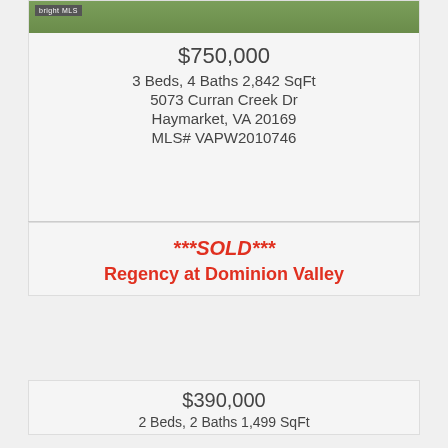[Figure (photo): Exterior photo of house with green lawn and walkway, bright MLS watermark in top-left corner]
$750,000
3 Beds, 4 Baths 2,842 SqFt
5073 Curran Creek Dr
Haymarket, VA 20169
MLS# VAPW2010746
***SOLD***
Regency at Dominion Valley
$390,000
2 Beds, 2 Baths 1,499 SqFt